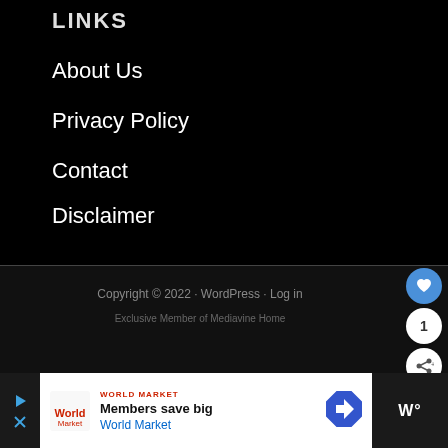LINKS
About Us
Privacy Policy
Contact
Disclaimer
Copyright © 2022 · WordPress · Log in
Exclusive Member of Mediavine Home
[Figure (infographic): Advertisement bar at bottom: play icon, World Market logo and 'Members save big' headline, navigation arrow icon, and W° logo on dark background]